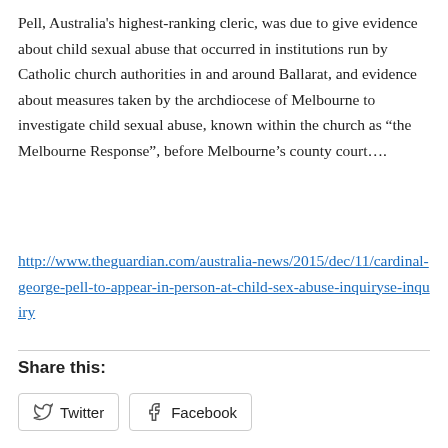Pell, Australia's highest-ranking cleric, was due to give evidence about child sexual abuse that occurred in institutions run by Catholic church authorities in and around Ballarat, and evidence about measures taken by the archdiocese of Melbourne to investigate child sexual abuse, known within the church as “the Melbourne Response”, before Melbourne’s county court….
http://www.theguardian.com/australia-news/2015/dec/11/cardinal-george-pell-to-appear-in-person-at-child-sex-abuse-inquiryse-inquiry
Share this:
Twitter  Facebook